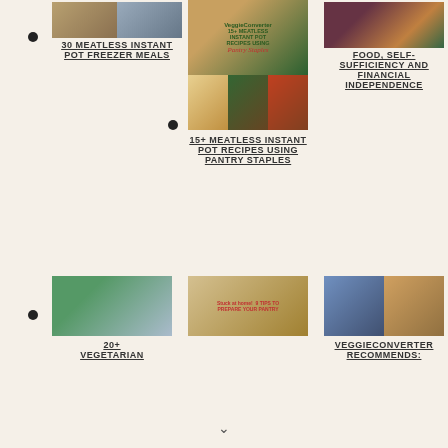[Figure (photo): Thumbnail collage of meatless instant pot freezer meals]
30 MEATLESS INSTANT POT FREEZER MEALS
[Figure (photo): Collage of 15+ meatless instant pot recipes using pantry staples]
15+ MEATLESS INSTANT POT RECIPES USING PANTRY STAPLES
[Figure (photo): Food, self-sufficiency and financial independence image with produce]
FOOD, SELF-SUFFICIENCY AND FINANCIAL INDEPENDENCE
[Figure (photo): 20+ vegetarian dish photo]
20+ VEGETARIAN
[Figure (photo): 9 Tips to prepare your pantry collage]
[Figure (photo): VeggieConverter recommends slow cooker cooking air fryer books]
VEGGIECONVERTER RECOMMENDS: